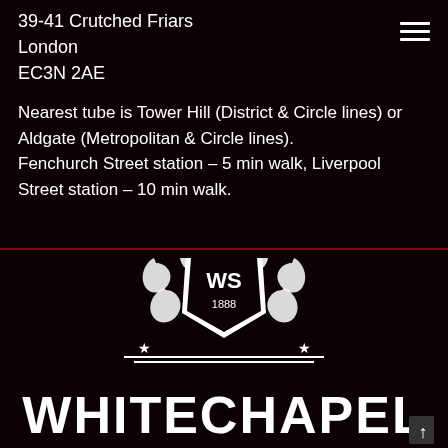39-41 Crutched Friars
London
EC3N 2AE
Nearest tube is Tower Hill (District & Circle lines) or Aldgate (Metropolitan & Circle lines).
Fenchurch Street station – 5 min walk, Liverpool Street station – 10 min walk.
[Figure (logo): Whitechapel Golf Society ornate crest logo with WS monogram and 1888 date, white on dark background, with WHITECHAPEL text below]